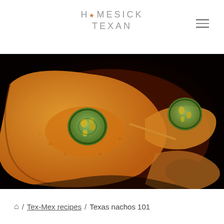HOMESICK TEXAN
[Figure (photo): Close-up photo of nachos with melted cheese and jalapeño slices on a dark surface]
⌂ / Tex-Mex recipes / Texas nachos 101